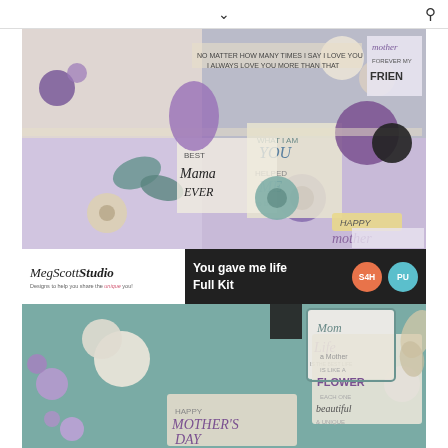MegScottStudio navigation header with chevron and search icon
[Figure (photo): Digital scrapbooking kit product image showing purple, teal, cream and black floral elements, ribbons, tags, word art ('Best Mama Ever', 'What I Am You Helped Me To Be', 'Happy Mother Day'), buttons, and decorative papers on a collage background]
MegScottStudio - Designs to help you share the unique you!
You gave me life Full Kit
[Figure (photo): Second digital scrapbooking kit product image showing teal background with purple floral elements, circular tags, word art ('Happy Mother's Day', 'Mom Life', 'a Mother is like a Flower each one beautiful & unique', 'Have a great Mom'), cream and teal labels on teal background]